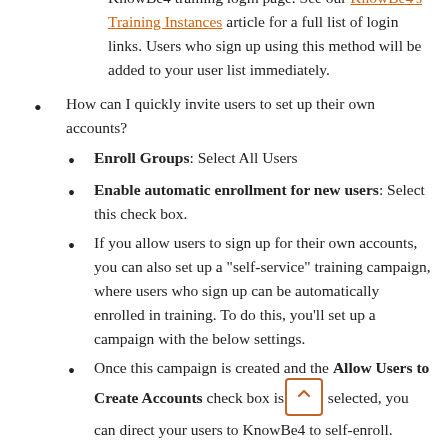by entering their work email address on the KnowBe4 training login page. See our KnowBe4's Training Instances article for a full list of login links. Users who sign up using this method will be added to your user list immediately.
How can I quickly invite users to set up their own accounts?
Enroll Groups: Select All Users
Enable automatic enrollment for new users: Select this check box.
If you allow users to sign up for their own accounts, you can also set up a "self-service" training campaign, where users who sign up can be automatically enrolled in training. To do this, you'll set up a campaign with the below settings.
Once this campaign is created and the Allow Users to Create Accounts check box is selected, you can direct your users to KnowBe4 to self-enroll.
Why is this setting disabled by default?